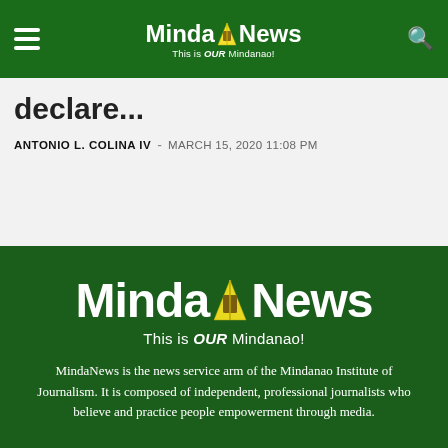MindaNews - This is OUR Mindanao!
declare...
ANTONIO L. COLINA IV - MARCH 15, 2020 11:08 PM
[Figure (logo): MindaNews logo with tagline 'This is OUR Mindanao!' on dark green background]
MindaNews is the news service arm of the Mindanao Institute of Journalism. It is composed of independent, professional journalists who believe and practice people empowerment through media.